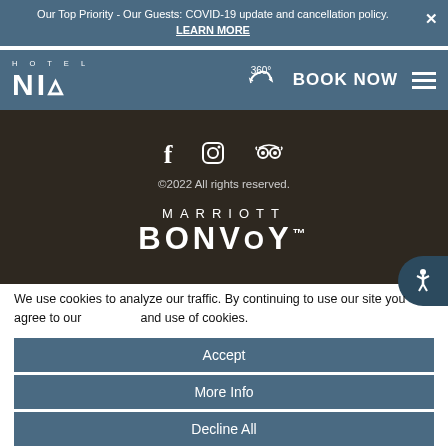Our Top Priority - Our Guests: COVID-19 update and cancellation policy. LEARN MORE
[Figure (logo): Hotel Nia logo with navigation bar including 360 icon, BOOK NOW button, and hamburger menu on blue-grey background]
[Figure (screenshot): Dark section with Facebook, Instagram, TripAdvisor social icons, copyright 2022 text, and Marriott Bonvoy logo]
We use cookies to analyze our traffic. By continuing to use our site you agree to our and use of cookies.
Accept
More Info
Decline All
Privacy Policy